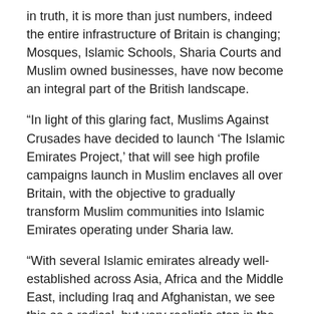in truth, it is more than just numbers, indeed the entire infrastructure of Britain is changing; Mosques, Islamic Schools, Sharia Courts and Muslim owned businesses, have now become an integral part of the British landscape.
“In light of this glaring fact, Muslims Against Crusades have decided to launch ‘The Islamic Emirates Project,’ that will see high profile campaigns launch in Muslim enclaves all over Britain, with the objective to gradually transform Muslim communities into Islamic Emirates operating under Sharia law.
“With several Islamic emirates already well-established across Asia, Africa and the Middle East, including Iraq and Afghanistan, we see this as a radical, but very realistic step in the heart of Western Europe, that will Insha’Allah (God willing), pave the way for the worldwide domination of Islam.”